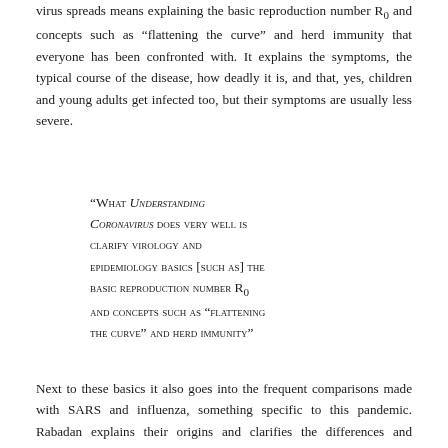virus spreads means explaining the basic reproduction number R₀ and concepts such as “flattening the curve” and herd immunity that everyone has been confronted with. It explains the symptoms, the typical course of the disease, how deadly it is, and that, yes, children and young adults get infected too, but their symptoms are usually less severe.
“What Understanding Coronavirus does very well is clarify virology and epidemiology basics [such as] the basic reproduction number R₀ and concepts such as “flattening the curve” and herd immunity”
Next to these basics it also goes into the frequent comparisons made with SARS and influenza, something specific to this pandemic. Rabadan explains their origins and clarifies the differences and similarities with COVID-19.